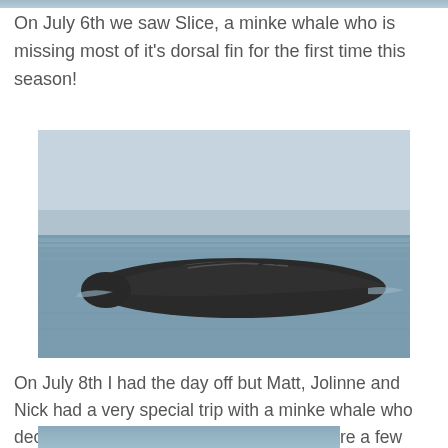[Figure (photo): Partial top strip of a whale watching photo at very top of page]
On July 6th we saw Slice, a minke whale who is missing most of it's dorsal fin for the first time this season!
[Figure (photo): Photo of a minke whale surfacing in ocean water, showing its back with a notably absent/truncated dorsal fin. The water is grayish-blue and calm.]
On July 8th I had the day off but Matt, Jolinne and Nick had a very special trip with a minke whale who decided to breach over 30 times! Below are a few shots that Nick wanted to share.
[Figure (photo): Bottom strip of another whale photo, partially visible at the bottom of the page]